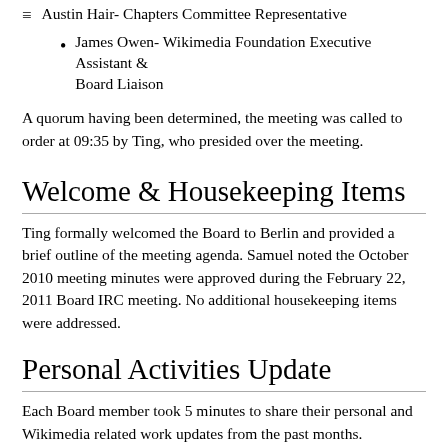Austin Hair- Chapters Committee Representative
James Owen- Wikimedia Foundation Executive Assistant & Board Liaison
A quorum having been determined, the meeting was called to order at 09:35 by Ting, who presided over the meeting.
Welcome & Housekeeping Items
Ting formally welcomed the Board to Berlin and provided a brief outline of the meeting agenda. Samuel noted the October 2010 meeting minutes were approved during the February 22, 2011 Board IRC meeting. No additional housekeeping items were addressed.
Personal Activities Update
Each Board member took 5 minutes to share their personal and Wikimedia related work updates from the past months.